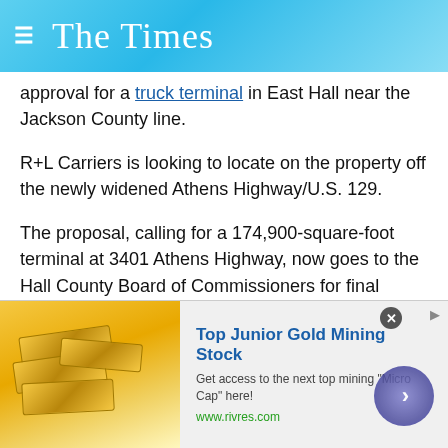The Times
approval for a truck terminal in East Hall near the Jackson County line.
R+L Carriers is looking to locate on the property off the newly widened Athens Highway/U.S. 129.
The proposal, calling for a 174,900-square-foot terminal at 3401 Athens Highway, now goes to the Hall County Board of Commissioners for final action at a July 28 public hearing.
The site would be next to Hall County school, Sugar Hill Academy of Talent & Career.
[Figure (advertisement): Ad for Top Junior Gold Mining Stock by rivres.com, showing gold bars image, with navigation arrow button]